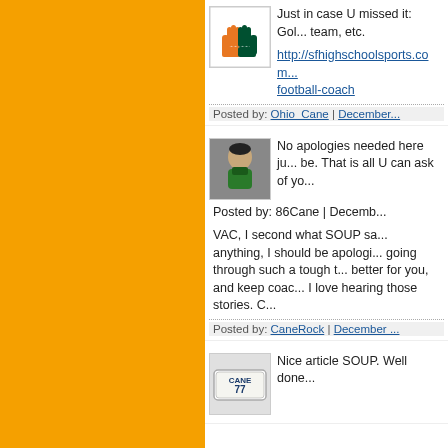[Figure (photo): Orange sidebar background]
[Figure (logo): Avatar with orange and green hands forming U, Miami Hurricanes logo]
Just in case U missed it: Gol... team, etc.
http://sfhighschoolsports.com... football-coach
Posted by: Ohio_Cane | December...
[Figure (photo): Avatar photo of a football player in green jersey]
No apologies needed here ju... be. That is all U can ask of yo...
Posted by: 86Cane | Decemb...
VAC, I second what SOUP sa... anything, I should be apologi... going through such a tough t... better for you, and keep coac... I love hearing those stories. C...
Posted by: CaneRock | December ...
[Figure (photo): Avatar with license plate reading CANE 77]
Nice article SOUP. Well done...